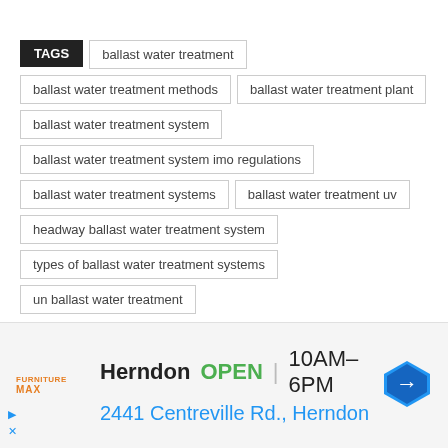TAGS | ballast water treatment | ballast water treatment methods | ballast water treatment plant | ballast water treatment system | ballast water treatment system imo regulations | ballast water treatment systems | ballast water treatment uv | headway ballast water treatment system | types of ballast water treatment systems | un ballast water treatment
[Figure (other): Social share buttons: Facebook, Twitter, Pinterest, WhatsApp]
[Figure (other): Advertisement banner: Furniture Max, Herndon OPEN 10AM-6PM, 2441 Centreville Rd., Herndon]